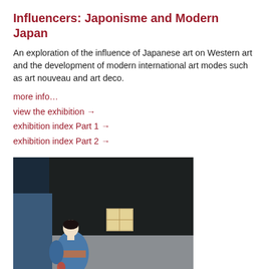Influencers: Japonisme and Modern Japan
An exploration of the influence of Japanese art on Western art and the development of modern international art modes such as art nouveau and art deco.
more info…
view the exhibition →
exhibition index Part 1 →
exhibition index Part 2 →
[Figure (illustration): Japanese woodblock-style painting showing a woman in a blue kimono viewed from behind, standing near a dark building with a glowing window at night.]
1923 Before & After: Japanese Prints and the Great Kanto Earthquake